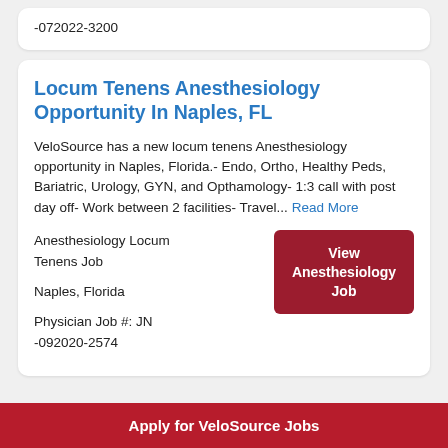-072022-3200
Locum Tenens Anesthesiology Opportunity In Naples, FL
VeloSource has a new locum tenens Anesthesiology opportunity in Naples, Florida.- Endo, Ortho, Healthy Peds, Bariatric, Urology, GYN, and Opthamology- 1:3 call with post day off- Work between 2 facilities- Travel... Read More
Anesthesiology Locum Tenens Job
Naples, Florida
Physician Job #: JN -092020-2574
View Anesthesiology Job
Apply for VeloSource Jobs